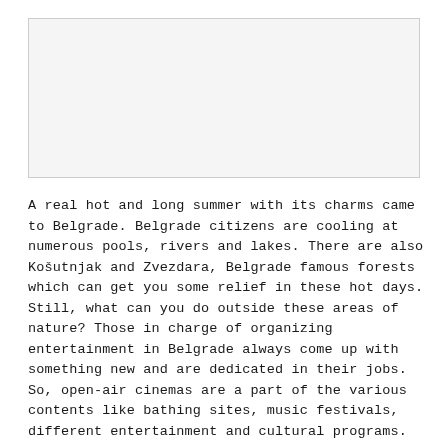[Figure (photo): A placeholder image area at the top of the page, shown as a light gray rectangle with a border.]
A real hot and long summer with its charms came to Belgrade. Belgrade citizens are cooling at numerous pools, rivers and lakes. There are also Košutnjak and Zvezdara, Belgrade famous forests which can get you some relief in these hot days. Still, what can you do outside these areas of nature? Those in charge of organizing entertainment in Belgrade always come up with something new and are dedicated in their jobs. So, open-air cinemas are a part of the various contents like bathing sites, music festivals, different entertainment and cultural programs.
In the evening, when summer heat becomes a bit more bearable and walkers finally flock to the streets, cinema lovers gather in special venues...